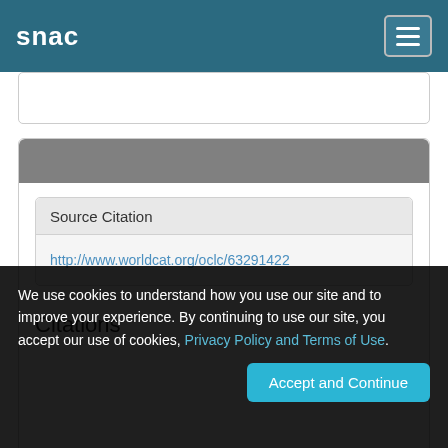snac
Source Citation
http://www.worldcat.org/oclc/63291422
Citations
We use cookies to understand how you use our site and to improve your experience. By continuing to use our site, you accept our use of cookies, Privacy Policy and Terms of Use.